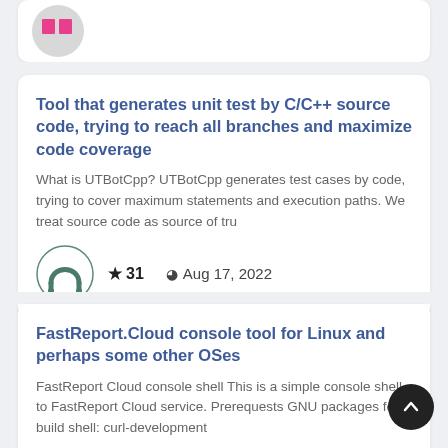[Figure (logo): Partial avatar with pink blocks visible at top of page]
Tool that generates unit test by C/C++ source code, trying to reach all branches and maximize code coverage
What is UTBotCpp? UTBotCpp generates test cases by code, trying to cover maximum statements and execution paths. We treat source code as source of tru
[Figure (logo): UTBotCpp horseshoe logo icon]
★ 31   🕐 Aug 17, 2022
FastReport.Cloud console tool for Linux and perhaps some other OSes
FastReport Cloud console shell This is a simple console shell to FastReport Cloud service. Prerequests GNU packages for build shell: curl-development
[Figure (photo): User avatar photo - partial person visible]
★ 2   🕐 Feb 10, 2022